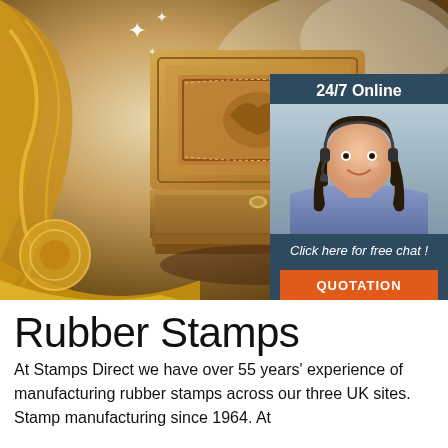[Figure (photo): Hero image showing an ornate carved wooden stamp/box with decorative golden frame border, sparkle effects. Overlaid with a 24/7 online chat widget showing a female customer service agent with headset.]
Rubber Stamps
[Figure (logo): TOP logo mark — orange dots arranged in triangle/arch above orange text 'TOP']
At Stamps Direct we have over 55 years' experience of manufacturing rubber stamps across our three UK sites. Stamp manufacturing since 1964. At